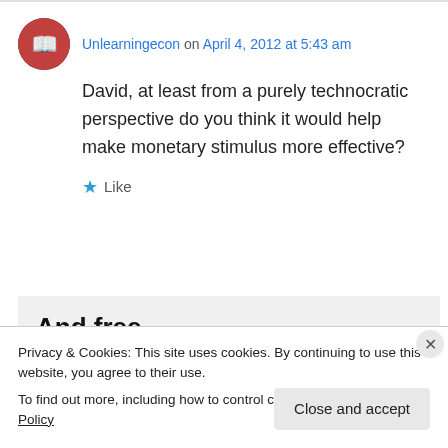Unlearningecon on April 4, 2012 at 5:43 am
David, at least from a purely technocratic perspective do you think it would help make monetary stimulus more effective?
Like
[Figure (illustration): Promotional box with bold text 'And free.' and four circular avatar images of people]
Privacy & Cookies: This site uses cookies. By continuing to use this website, you agree to their use.
To find out more, including how to control cookies, see here: Cookie Policy
Close and accept